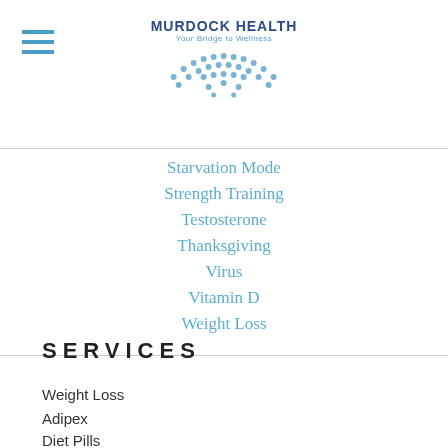MURDOCK HEALTH Your Bridge to Wellness
Starvation Mode
Strength Training
Testosterone
Thanksgiving
Virus
Vitamin D
Weight Loss
SERVICES
Weight Loss
Adipex
Diet Pills
Ketogenic Diet